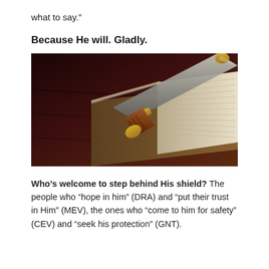what to say.”
Because He will. Gladly.
[Figure (photo): A sword resting on top of an open Bible, both placed on a dark wooden surface. The sword has a brown wooden handle with gold/brass fittings. The Bible pages are visible on the right side.]
Who’s welcome to step behind His shield? The people who “hope in him” (DRA) and “put their trust in Him” (MEV), the ones who “come to him for safety” (CEV) and “seek his protection” (GNT).